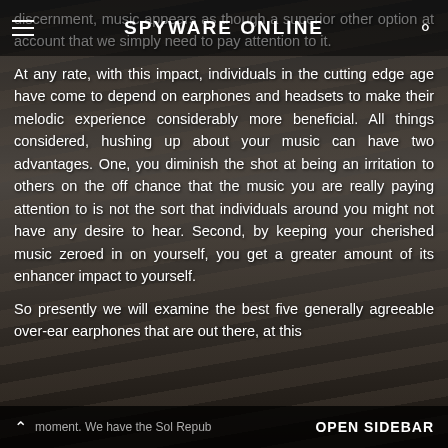SPYWARE ONLINE
discernment, music appears as though a superior other option at account that we simply need to pay attention to it.
At any rate, with this impact, individuals in the cutting edge age have come to depend on earphones and headsets to make their melodic experience considerably more beneficial. All things considered, hushing up about your music can have two advantages. One, you diminish the shot at being an irritation to others on the off chance that the music you are really paying attention to is not the sort that individuals around you might not have any desire to hear. Second, by keeping your cherished music zeroed in on yourself, you get a greater amount of its enhancer impact to yourself.
So presently we will examine the best five generally agreeable over-ear earphones that are out there, at this
moment. We have the Sol Repub... OPEN SIDEBAR